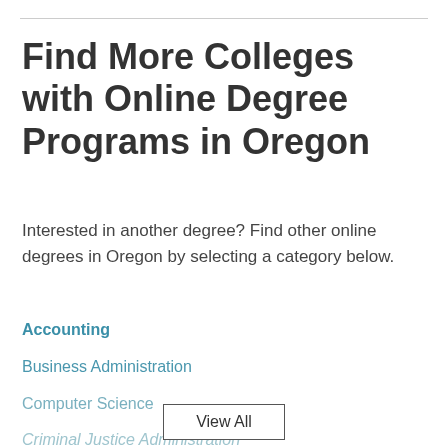Find More Colleges with Online Degree Programs in Oregon
Interested in another degree? Find other online degrees in Oregon by selecting a category below.
Accounting
Business Administration
Computer Science
Criminal Justice Administration
View All